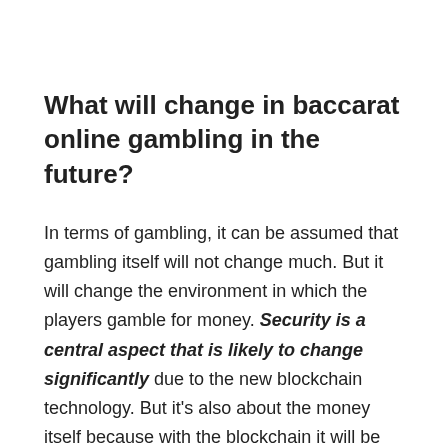What will change in baccarat online gambling in the future?
In terms of gambling, it can be assumed that gambling itself will not change much. But it will change the environment in which the players gamble for money. Security is a central aspect that is likely to change significantly due to the new blockchain technology. But it's also about the money itself because with the blockchain it will be possible in many online casinos in the future. They can deposit money in the form of cryptocurrencies.